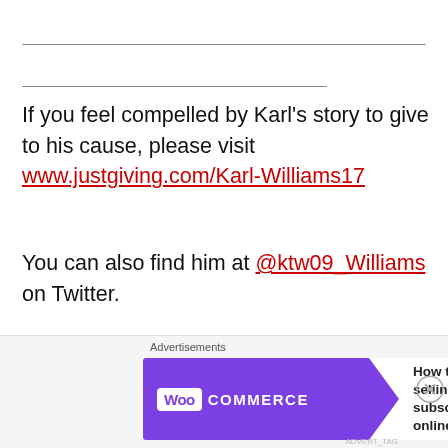If you feel compelled by Karl's story to give to his cause, please visit www.justgiving.com/Karl-Williams17
You can also find him at @ktw09_Williams on Twitter.
Thanks for sharing your remarkably vulnerable story of grief and personal discovery with us all Karl.  I wish you nothing but the best of luck to you on your fundraising campaign as well as in
[Figure (other): WooCommerce advertisement banner: 'How to start selling subscriptions online']